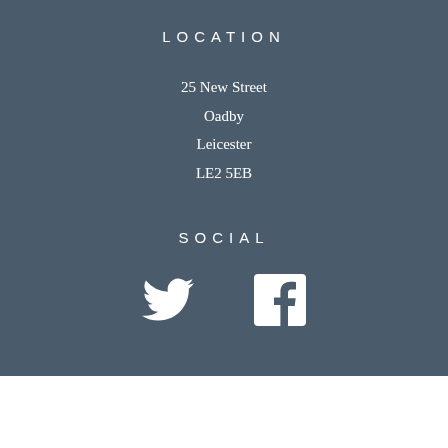LOCATION
25 New Street
Oadby
Leicester
LE2 5EB
SOCIAL
[Figure (illustration): Twitter bird icon and Facebook 'f' icon side by side]